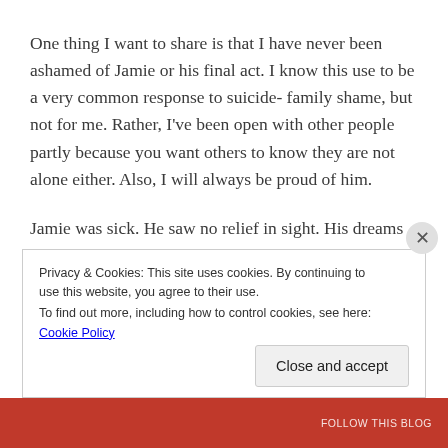One thing I want to share is that I have never been ashamed of Jamie or his final act.  I know this use to be a very common response to suicide- family shame, but not for me.  Rather, I've been open with other people partly because you want others to know they are not alone either.  Also, I will always be proud of him.
Jamie was sick.  He saw no relief in sight.  His dreams of playing ball and becoming a pilot at the Air Force
Privacy & Cookies: This site uses cookies. By continuing to use this website, you agree to their use.
To find out more, including how to control cookies, see here: Cookie Policy
Close and accept